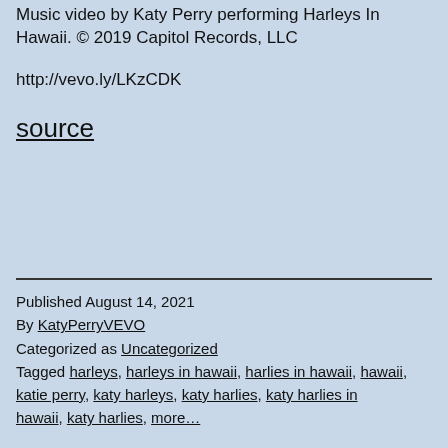Music video by Katy Perry performing Harleys In Hawaii. © 2019 Capitol Records, LLC
http://vevo.ly/LKzCDK
source
Published August 14, 2021
By KatyPerryVEVO
Categorized as Uncategorized
Tagged harleys, harleys in hawaii, harlies in hawaii, hawaii, katie perry, katy harleys, katy harlies, katy harlies in hawaii, katy harlies, more...